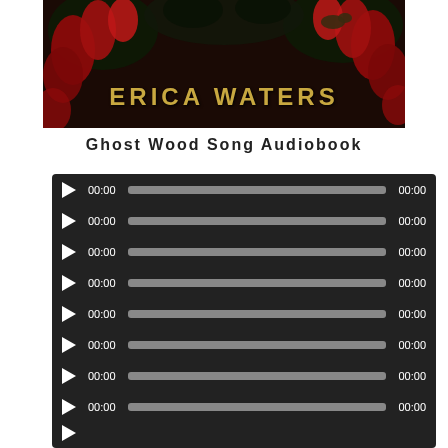[Figure (photo): Book cover showing 'ERICA WATERS' in gold letters against a dark background with red flowers]
Ghost Wood Song Audiobook
[Figure (screenshot): Audio player interface with 8+ audio tracks, each showing a play button, 00:00 current time, a gray progress bar, and 00:00 total time, on a dark background]